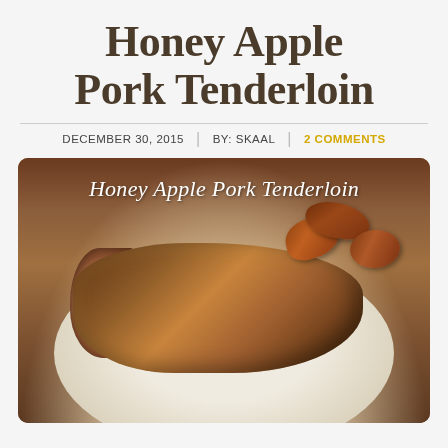Honey Apple Pork Tenderloin
DECEMBER 30, 2015 | BY: SKAAL | 2 COMMENTS
[Figure (photo): Photo of Honey Apple Pork Tenderloin — a sliced pork tenderloin topped with caramelized apple pieces, served on a white plate. The image has the text 'Honey Apple Pork Tenderloin' overlaid at the top in a white cursive font on a brown/warm-toned background.]